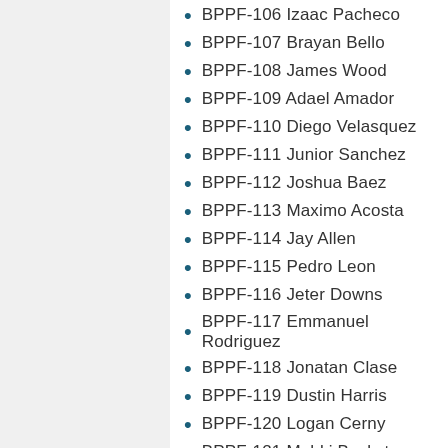BPPF-106 Izaac Pacheco
BPPF-107 Brayan Bello
BPPF-108 James Wood
BPPF-109 Adael Amador
BPPF-110 Diego Velasquez
BPPF-111 Junior Sanchez
BPPF-112 Joshua Baez
BPPF-113 Maximo Acosta
BPPF-114 Jay Allen
BPPF-115 Pedro Leon
BPPF-116 Jeter Downs
BPPF-117 Emmanuel Rodriguez
BPPF-118 Jonatan Clase
BPPF-119 Dustin Harris
BPPF-120 Logan Cerny
BPPF-121 Mahki Backstrom
BPPF-122 Zayed Salinas
BPPF-123 Edgar Quero
BPPF-124 Ronnier Quintero